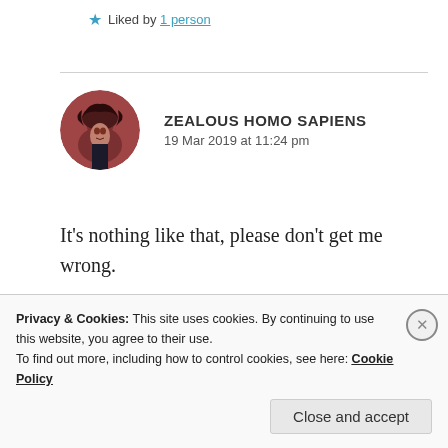Liked by 1 person
ZEALOUS HOMO SAPIENS
19 Mar 2019 at 11:24 pm
[Figure (photo): Circular avatar photo of a person with dark hair against a reddish-brown background]
It's nothing like that, please don't get me wrong.
Privacy & Cookies: This site uses cookies. By continuing to use this website, you agree to their use.
To find out more, including how to control cookies, see here: Cookie Policy
Close and accept